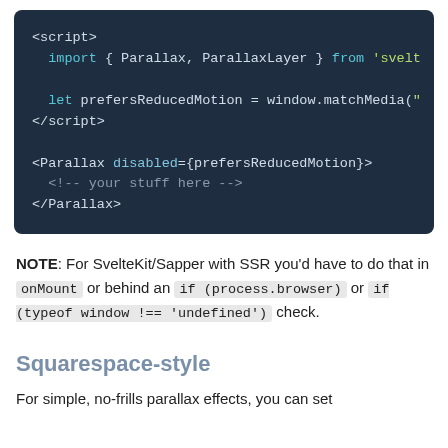[Figure (screenshot): Code block on dark background showing Svelte script with import of Parallax and ParallaxLayer, let prefersReducedMotion, and Parallax component usage with disabled prop and HTML comment]
NOTE: For SvelteKit/Sapper with SSR you'd have to do that in onMount or behind an if (process.browser) or if (typeof window !== 'undefined') check.
Squarespace-style
For simple, no-frills parallax effects, you can set